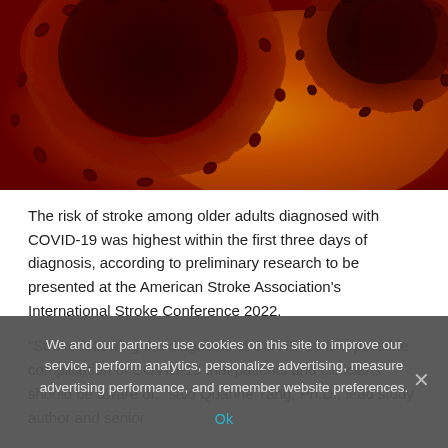[Figure (photo): Close-up microscope image of coronavirus particles, shown in red and dark red/brown tones against an orange-yellow background]
The risk of stroke among older adults diagnosed with COVID-19 was highest within the first three days of diagnosis, according to preliminary research to be presented at the American Stroke Association's International Stroke Conference 2022.
“Stroke following the diagnosis of COVID-19 is a possible complication of COVID-19 that patients and clinicians should be aware of,” said Quanhe Yang, Ph.D., lead study author and senior
We and our partners use cookies on this site to improve our service, perform analytics, personalize advertising, measure advertising performance, and remember website preferences.